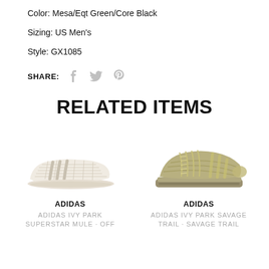Color: Mesa/Eqt Green/Core Black
Sizing: US Men's
Style: GX1085
SHARE:
RELATED ITEMS
[Figure (photo): Adidas Ivy Park Superstar Mule shoe in off-white/cream color with woven texture and three stripes]
ADIDAS
ADIDAS IVY PARK SUPERSTAR MULE  OFF
[Figure (photo): Adidas Ivy Park Savage Trail shoe in khaki/olive green color with chunky sole]
ADIDAS
ADIDAS IVY PARK SAVAGE TRAIL  SAVAGE TRAIL